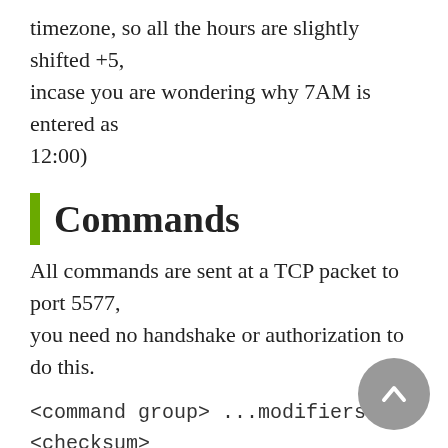timezone, so all the hours are slightly shifted +5, incase you are wondering why 7AM is entered as 12:00)
Commands
All commands are sent at a TCP packet to port 5577, you need no handshake or authorization to do this.
<command group> ...modifiers... <checksum>
Power On = 0x71 0x23 0x0F 0xA4
Power Off = 0x71 0x24 0x0F 0xA3
Set Color = 0x31 RED GREEN BLUE WW CW
TRUE FALSE CHECKSUM